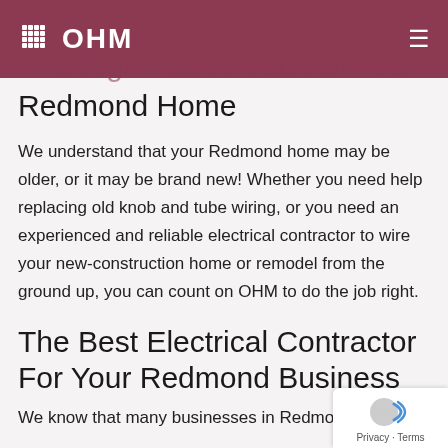OHM
The Right Electrician For Your Redmond Home
We understand that your Redmond home may be older, or it may be brand new! Whether you need help replacing old knob and tube wiring, or you need an experienced and reliable electrical contractor to wire your new-construction home or remodel from the ground up, you can count on OHM to do the job right.
The Best Electrical Contractor For Your Redmond Business
We know that many businesses in Redmond